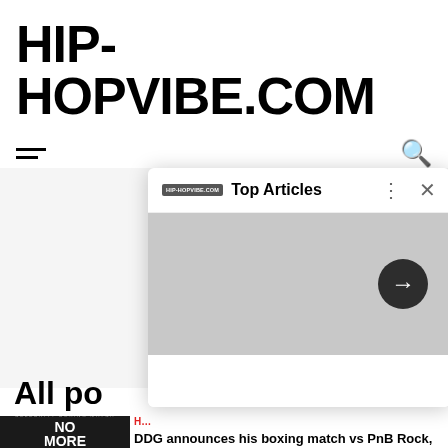HIP-HOPVIBE.COM
[Figure (screenshot): Top Articles popup overlay with logo, close button, grey body with arrow button, on hip-hopvibe.com website]
All po…
[Figure (photo): Celebrity boxing match poster reading NO MORE TALK]
DDG announces his boxing match vs PnB Rock, coming to same fight card as Blueface vs Nick Young, on July 30, in Los Angeles